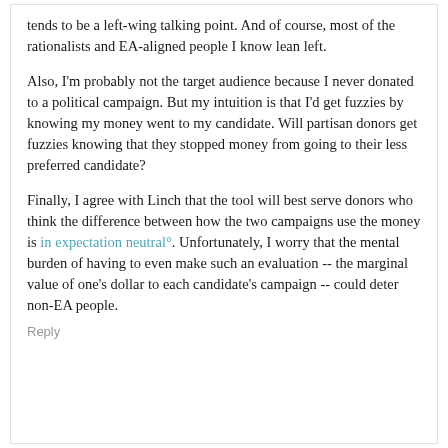tends to be a left-wing talking point.  And of course, most of the rationalists and EA-aligned people I know lean left.
Also, I'm probably not the target audience because I never donated to a political campaign. But my intuition is that I'd get fuzzies by knowing my money went to my candidate. Will partisan donors get fuzzies knowing that they stopped money from going to their less preferred candidate?
Finally, I agree with Linch that the tool will best serve donors who think the difference between how the two campaigns use the money is in expectation neutral°. Unfortunately, I worry that the mental burden of having to even make such an evaluation -- the marginal value of one's dollar to each candidate's campaign -- could deter non-EA people.
Reply